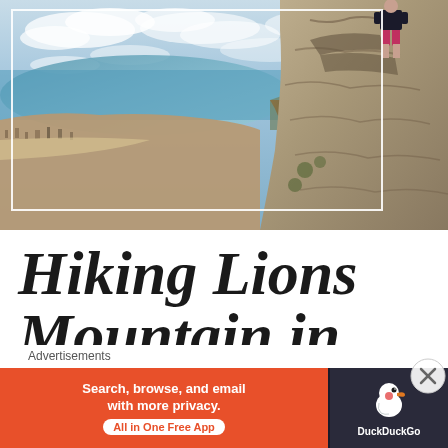[Figure (photo): Aerial panoramic photo taken from Lion's Head mountain in Cape Town, South Africa. Shows a dramatic view of the city of Cape Town, coastal areas, the Atlantic Ocean, and Signal Hill. Rocky cliff face visible on the right side with a person standing on top of the rocks at upper right. White rectangle border overlay on the photo.]
Hiking Lions Mountain in Cabe
Advertisements
[Figure (screenshot): DuckDuckGo advertisement banner. Left orange section reads 'Search, browse, and email with more privacy. All in One Free App'. Right dark section shows DuckDuckGo duck logo and brand name.]